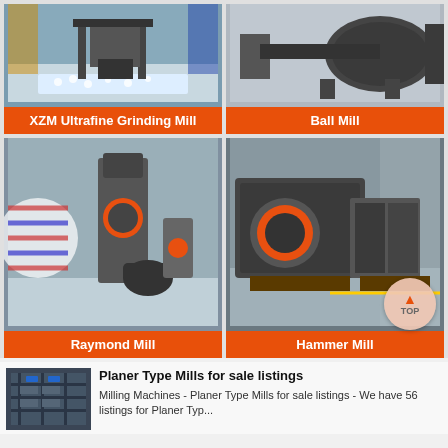[Figure (photo): XZM Ultrafine Grinding Mill machine in industrial setting with white balls/pellets on floor]
XZM Ultrafine Grinding Mill
[Figure (photo): Ball Mill large industrial grinding machine, dark grey color]
Ball Mill
[Figure (photo): Raymond Mill tall vertical industrial grinding machine in factory]
Raymond Mill
[Figure (photo): Hammer Mill large industrial crushing machine in factory floor]
Hammer Mill
[Figure (photo): Planer Type Mills for sale listings thumbnail showing industrial shelving]
Planer Type Mills for sale listings
Milling Machines - Planer Type Mills for sale listings - We have 56 listings for Planer Typ...